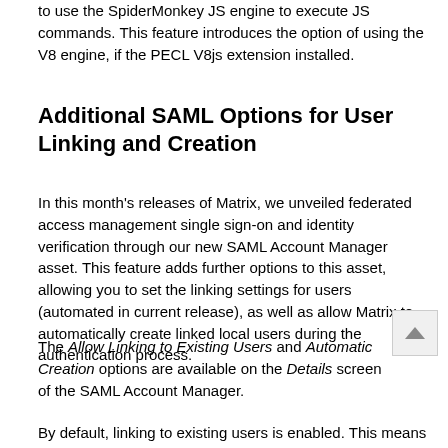to use the SpiderMonkey JS engine to execute JS commands. This feature introduces the option of using the V8 engine, if the PECL V8js extension installed.
Additional SAML Options for User Linking and Creation
In this month's releases of Matrix, we unveiled federated access management single sign-on and identity verification through our new SAML Account Manager asset. This feature adds further options to this asset, allowing you to set the linking settings for users (automated in current release), as well as allow Matrix to automatically create linked local users during the authentication process.
The Allow Linking to Existing Users and Automatic Creation options are available on the Details screen of the SAML Account Manager.
By default, linking to existing users is enabled. This means that is a user is logged in to Squiz Matrix and their account